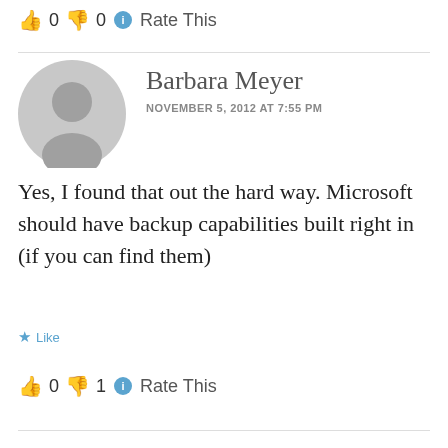👍 0 👎 0 ℹ Rate This
Barbara Meyer
NOVEMBER 5, 2012 AT 7:55 PM
Yes, I found that out the hard way. Microsoft should have backup capabilities built right in (if you can find them)
★ Like
👍 0 👎 1 ℹ Rate This